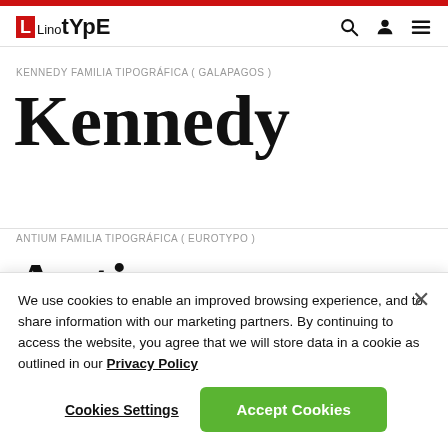Linotype — navigation bar with logo, search, user, and menu icons
KENNEDY FAMILIA TIPOGRÁFICA ( GALAPAGOS )
Kennedy
ANTIUM FAMILIA TIPOGRÁFICA ( EUROTYPO )
Antiu...
We use cookies to enable an improved browsing experience, and to share information with our marketing partners. By continuing to access the website, you agree that we will store data in a cookie as outlined in our Privacy Policy
Cookies Settings
Accept Cookies